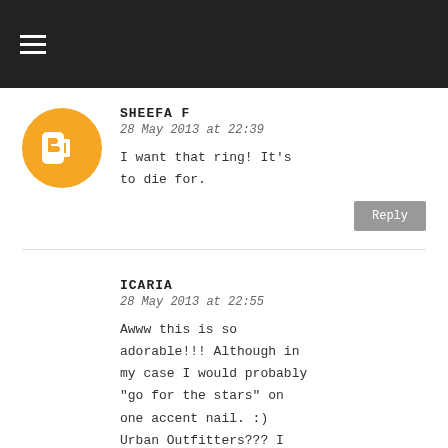≡
[Figure (logo): Blogger orange circle avatar icon with white B symbol]
SHEEFA F
28 May 2013 at 22:39
I want that ring! It's to die for.
Reply
ICARIA
28 May 2013 at 22:55
Awww this is so adorable!!! Although in my case I would probably "go for the stars" on one accent nail. :) Urban Outfitters??? I